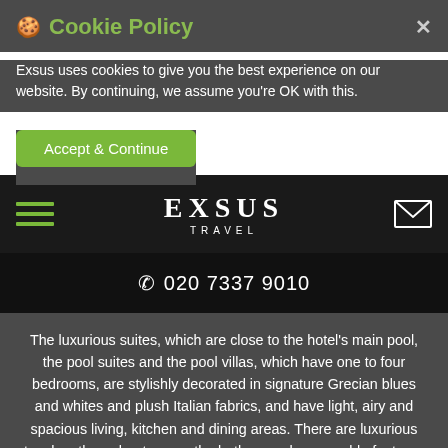🍪 Cookie Policy
Exsus uses cookies to give you the best experience on our website. By continuing, we assume you're OK with this.
Accept & Continue
[Figure (logo): EXSUS TRAVEL logo in white serif letters on black nav bar, with hamburger menu icon on left and envelope icon on right]
📞 020 7337 9010
The luxurious suites, which are close to the hotel's main pool, the pool suites and the pool villas, which have one to four bedrooms, are stylishly decorated in signature Grecian blues and whites and plush Italian fabrics, and have light, airy and spacious living, kitchen and dining areas. There are luxurious touches throughout - even the bathrooms have marble features and handpainted ceilings.
The pool villas have private seawater infinity pools and